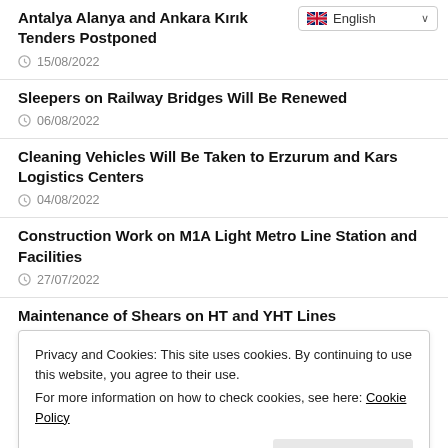Antalya Alanya and Ankara Kırıkkale Tenders Postponed
15/08/2022
Sleepers on Railway Bridges Will Be Renewed
06/08/2022
Cleaning Vehicles Will Be Taken to Erzurum and Kars Logistics Centers
04/08/2022
Construction Work on M1A Light Metro Line Station and Facilities
27/07/2022
Maintenance of Shears on HT and YHT Lines
22/07/2022
Privacy and Cookies: This site uses cookies. By continuing to use this website, you agree to their use.
For more information on how to check cookies, see here: Cookie Policy
Construction of 17000 M2 Concrete Field within the